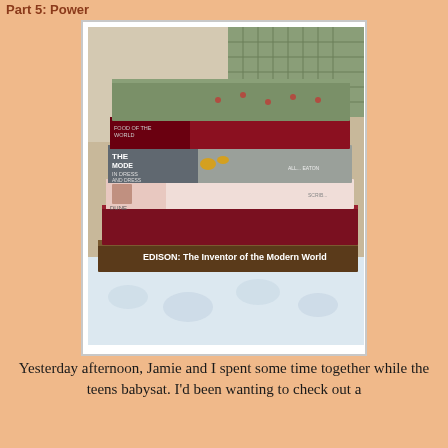Part 5: Power
[Figure (photo): A stack of books lying on their sides. The bottom book reads 'EDISON: The Inventor of the Modern World'. Above it are several other books with red, gray, and green covers stacked on a bed with a floral bedspread. Background shows a green plaid fabric.]
Yesterday afternoon, Jamie and I spent some time together while the teens babysat. I'd been wanting to check out a